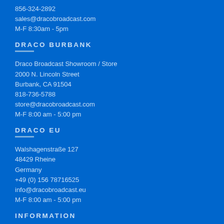856-324-2892
sales@dracobroadcast.com
M-F 8:30am - 5pm
DRACO BURBANK
Draco Broadcast Showroom / Store
2000 N. Lincoln Street
Burbank, CA 91504
818-736-5788
store@dracobroadcast.com
M-F 8:00 am - 5:00 pm
DRACO EU
Walshagenstraße 127
48429 Rheine
Germany
+49 (0) 156 78716525
info@dracobroadcast.eu
M-F 8:00 am - 5:00 pm
INFORMATION